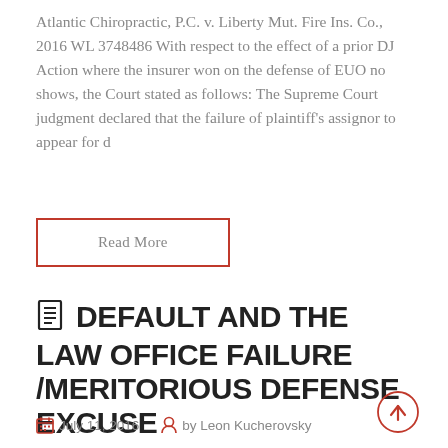Atlantic Chiropractic, P.C. v. Liberty Mut. Fire Ins. Co., 2016 WL 3748486 With respect to the effect of a prior DJ Action where the insurer won on the defense of EUO no shows, the Court stated as follows: The Supreme Court judgment declared that the failure of plaintiff's assignor to appear for d
Read More
DEFAULT AND THE LAW OFFICE FAILURE /MERITORIOUS DEFENSE EXCUSE
July 11, 2016   by Leon Kucherovsky